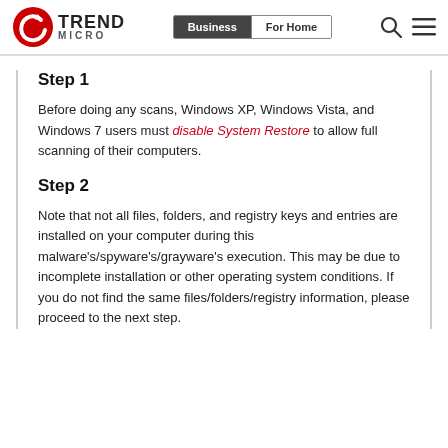Trend Micro | Business | For Home
Step 1
Before doing any scans, Windows XP, Windows Vista, and Windows 7 users must disable System Restore to allow full scanning of their computers.
Step 2
Note that not all files, folders, and registry keys and entries are installed on your computer during this malware's/spyware's/grayware's execution. This may be due to incomplete installation or other operating system conditions. If you do not find the same files/folders/registry information, please proceed to the next step.